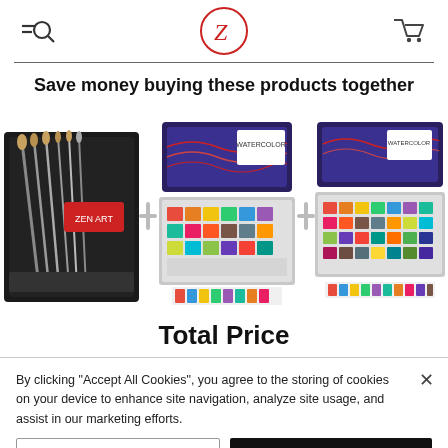Navigation header with search, logo, and cart icons
Save money buying these products together
[Figure (photo): Three art supply product images: a brush set case on the left, a watercolor paint palette tin set in the center, and another watercolor paint palette tin on the right, separated by plus-sign icons]
Total Price
By clicking "Accept All Cookies", you agree to the storing of cookies on your device to enhance site navigation, analyze site usage, and assist in our marketing efforts.